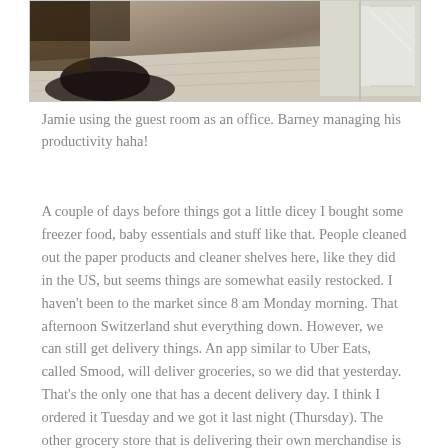[Figure (photo): Partial view of a room — appears to show a dark rounded object (possibly a pet) on a light-colored floor near a door or wall, with wooden flooring visible.]
Jamie using the guest room as an office. Barney managing his productivity haha!
A couple of days before things got a little dicey I bought some freezer food, baby essentials and stuff like that. People cleaned out the paper products and cleaner shelves here, like they did in the US, but seems things are somewhat easily restocked. I haven't been to the market since 8 am Monday morning. That afternoon Switzerland shut everything down. However, we can still get delivery things. An app similar to Uber Eats, called Smood, will deliver groceries, so we did that yesterday. That's the only one that has a decent delivery day. I think I ordered it Tuesday and we got it last night (Thursday). The other grocery store that is delivering their own merchandise is about a 10 days lag. Crazy.